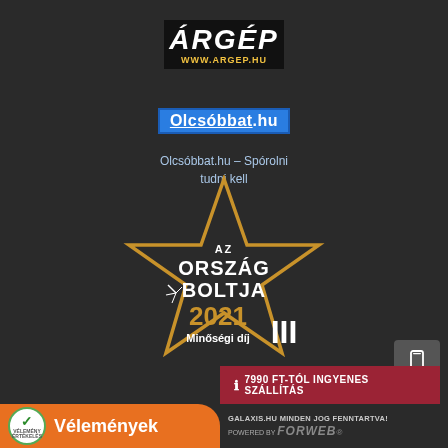[Figure (logo): ÁRGÉP logo with black background, white italic text and yellow URL www.argep.hu]
[Figure (logo): Olcsóbbat.hu logo in blue rectangle with white text]
Olcsóbbat.hu – Spórolni tudni kell
[Figure (illustration): Az Ország Boltja 2021 Minőségi díj III award badge with gold star outline on dark background]
[Figure (illustration): Phone/mobile icon button]
7990 FT-TÓL INGYENES SZÁLLÍTÁS
[Figure (logo): Vélemények badge with orange background and green check seal]
GALAXIS.HU MINDEN JOG FENNTARTVA!
POWERED BY FORWEB